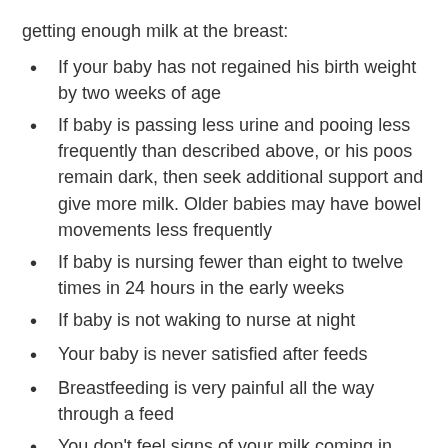getting enough milk at the breast:
If your baby has not regained his birth weight by two weeks of age
If baby is passing less urine and pooing less frequently than described above, or his poos remain dark, then seek additional support and give more milk. Older babies may have bowel movements less frequently
If baby is nursing fewer than eight to twelve times in 24 hours in the early weeks
If baby is not waking to nurse at night
Your baby is never satisfied after feeds
Breastfeeding is very painful all the way through a feed
You don’t feel signs of your milk coming in after